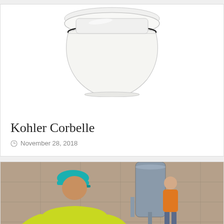[Figure (photo): White toilet (Kohler Corbelle) photographed from the side against a white background]
Kohler Corbelle
November 28, 2018
[Figure (photo): Two plumbers working on installing a water heater in a tiled room. One plumber in a yellow shirt and teal cap is in the foreground near a stainless steel sink, and another in an orange shirt is in the background.]
Plumbing Contractor Grows Company